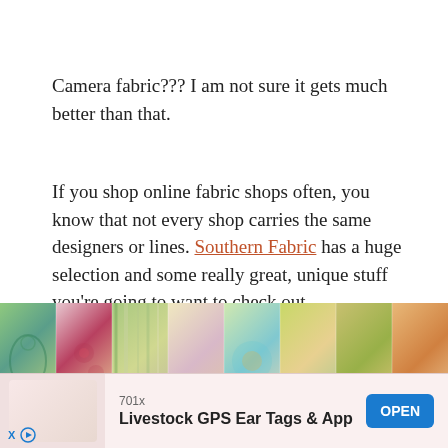Camera fabric??? I am not sure it gets much better than that.
If you shop online fabric shops often, you know that not every shop carries the same designers or lines. Southern Fabric has a huge selection and some really great, unique stuff you're going to want to check out.
I couldn't grab an image for this one, but I'm contemplating making a dress for me with this beauty HERE.
[Figure (photo): A horizontal strip of colorful fabric swatches showing various floral, paisley, and stripe patterns in greens, pinks, yellows, and oranges.]
701x Livestock GPS Ear Tags & App OPEN